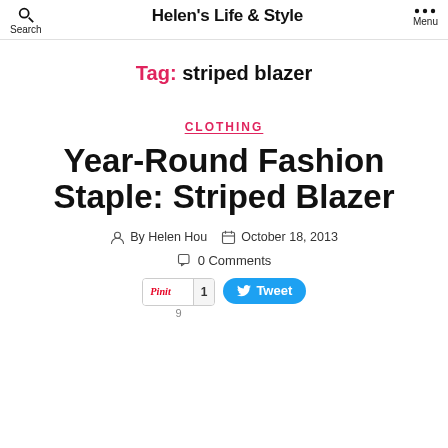Helen's Life & Style
Tag: striped blazer
CLOTHING
Year-Round Fashion Staple: Striped Blazer
By Helen Hou   October 18, 2013
0 Comments